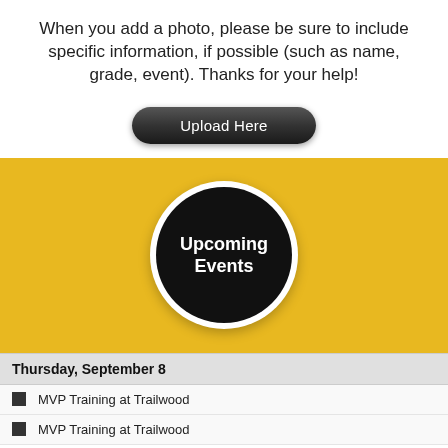When you add a photo, please be sure to include specific information, if possible (such as name, grade, event).  Thanks for your help!
[Figure (other): Dark rounded-rectangle button labeled 'Upload Here']
[Figure (infographic): Yellow banner with a black circle containing white bold text: 'Upcoming Events']
Thursday, September 8
MVP Training at Trailwood
MVP Training at Trailwood